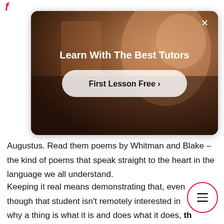[Figure (screenshot): Ad overlay showing 'Learn With The Best Tutors' with a 'First Lesson Free >' button over a video background of a person, with an X close button in top right.]
Augustus. Read them poems by Whitman and Blake – the kind of poems that speak straight to the heart in the language we all understand.
Keeping it real means demonstrating that, even though that student isn't remotely interested in why a thing is what it is and does what it does, this thing has relevance to the student, his community and the greater world.